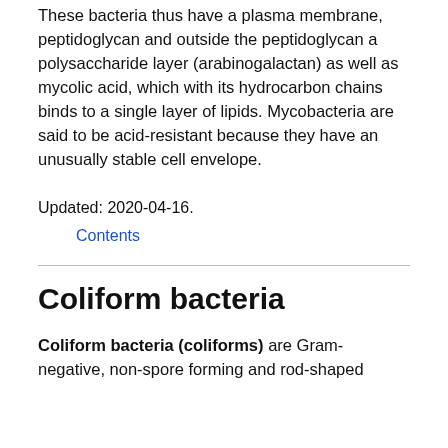These bacteria thus have a plasma membrane, peptidoglycan and outside the peptidoglycan a polysaccharide layer (arabinogalactan) as well as mycolic acid, which with its hydrocarbon chains binds to a single layer of lipids. Mycobacteria are said to be acid-resistant because they have an unusually stable cell envelope.
Updated: 2020-04-16.
Contents
Coliform bacteria
Coliform bacteria (coliforms) are Gram-negative, non-spore forming and rod-shaped